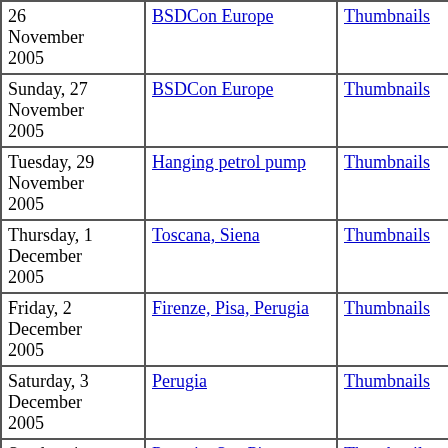| Date | Event | Thumbnails | Small photos | Diary |
| --- | --- | --- | --- | --- |
| 26 November 2005 | BSDCon Europe | Thumbnails | Small photos | diary |
| Sunday, 27 November 2005 | BSDCon Europe | Thumbnails | Small photos | diary |
| Tuesday, 29 November 2005 | Hanging petrol pump | Thumbnails | Small photos | diary |
| Thursday, 1 December 2005 | Toscana, Siena | Thumbnails | Small photos | diary |
| Friday, 2 December 2005 | Firenze, Pisa, Perugia | Thumbnails | Small photos | diary |
| Saturday, 3 December 2005 | Perugia | Thumbnails | Small photos | diary |
| Sunday, 4 December 2005 | Perugia, San Pietro, Guficon | Thumbnails | Small photos | diary |
| Monday, 5 December ... | Milano, train journey through ... | Thumbnails | Small ... | diary |